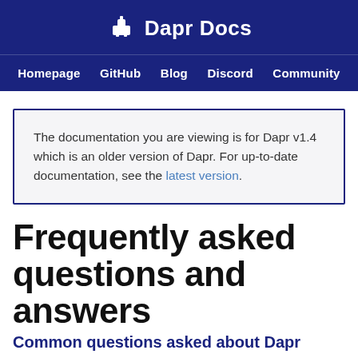Dapr Docs — Homepage GitHub Blog Discord Community
The documentation you are viewing is for Dapr v1.4 which is an older version of Dapr. For up-to-date documentation, see the latest version.
Frequently asked questions and answers
Common questions asked about Dapr